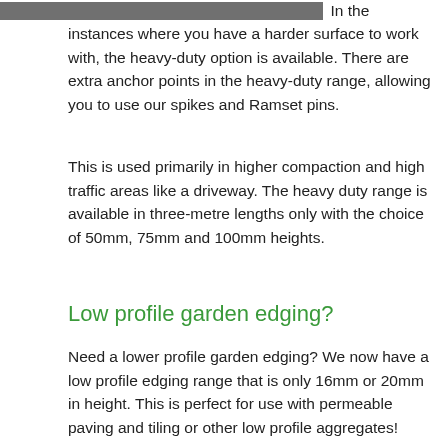[Figure (other): Dark gray horizontal bar at the top of the page]
In the instances where you have a harder surface to work with, the heavy-duty option is available. There are extra anchor points in the heavy-duty range, allowing you to use our spikes and Ramset pins.
This is used primarily in higher compaction and high traffic areas like a driveway. The heavy duty range is available in three-metre lengths only with the choice of 50mm, 75mm and 100mm heights.
Low profile garden edging?
Need a lower profile garden edging? We now have a low profile edging range that is only 16mm or 20mm in height. This is perfect for use with permeable paving and tiling or other low profile aggregates!